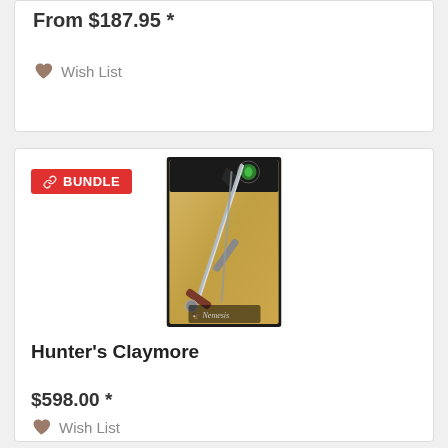From $187.95 *
Wish List
BUNDLE
[Figure (photo): Product photo of Hunter's Claymore sword against a parchment background with Nemesis branding]
Hunter's Claymore
$598.00 *
Wish List